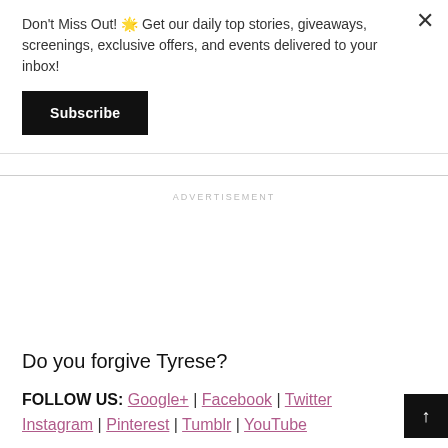Don't Miss Out! 🌟 Get our daily top stories, giveaways, screenings, exclusive offers, and events delivered to your inbox!
Subscribe
ADVERTISEMENT
Do you forgive Tyrese?
FOLLOW US: Google+ | Facebook | Twitter | Instagram | Pinterest | Tumblr | YouTube